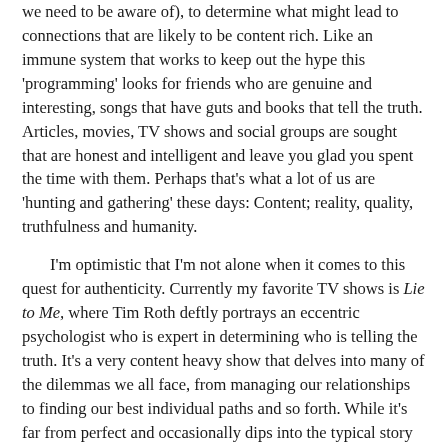we need to be aware of), to determine what might lead to connections that are likely to be content rich. Like an immune system that works to keep out the hype this 'programming' looks for friends who are genuine and interesting, songs that have guts and books that tell the truth. Articles, movies, TV shows and social groups are sought that are honest and intelligent and leave you glad you spent the time with them. Perhaps that's what a lot of us are 'hunting and gathering' these days: Content; reality, quality, truthfulness and humanity.
I'm optimistic that I'm not alone when it comes to this quest for authenticity. Currently my favorite TV shows is Lie to Me, where Tim Roth deftly portrays an eccentric psychologist who is expert in determining who is telling the truth. It's a very content heavy show that delves into many of the dilemmas we all face, from managing our relationships to finding our best individual paths and so forth. While it's far from perfect and occasionally dips into the typical story line topics and devices of the day, generally there's a lot more depth and honesty than you get from most programs and it's growing and very dedicated audience is perhaps proof that many of us are on a similar hunt for content and are fighting the good fight against the fluff